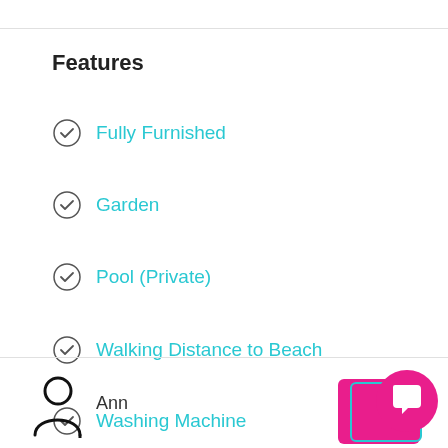Features
Fully Furnished
Garden
Pool (Private)
Walking Distance to Beach
Washing Machine
Ann